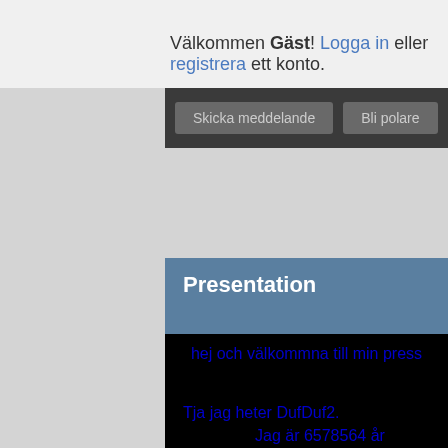Välkommen Gäst! Logga in eller registrera ett konto.
[Figure (screenshot): Dark button bar with 'Skicka meddelande' and 'Bli polare' buttons]
Presentation
hej och välkommna till min press

Tja jag heter DufDuf2.
  Jag är 6578564 år gammal.
  Och är 55447788 cm lång.
  Game Cube äger fattttt.
  jag har 65111 GamCube spel.
  Mitt hår är så långt att det når till kina
  jag är en riktig sport fåne!!
  jag går i judo, orgentering, tenis o